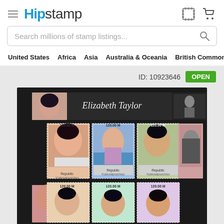HipStamp
Search millions of stamp listings...
United States  Africa  Asia  Australia & Oceania  British Commonwealth  Cana
ID: 10923646  OPEN
[Figure (photo): A sheet of postage stamps featuring Elizabeth Taylor from the Republic of Turkmenistan, each stamp showing 120.00 M denomination, depicting various photos of Elizabeth Taylor arranged in a grid pattern on a dark background.]